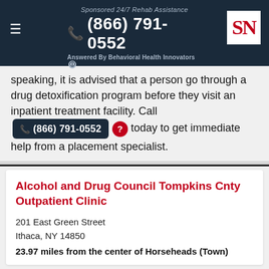Sponsored 24/7 Rehab Assistance — (866) 791-0552 — Answered By Behavioral Health Innovators
speaking, it is advised that a person go through a drug detoxification program before they visit an inpatient treatment facility. Call (866) 791-0552 today to get immediate help from a placement specialist.
Alcohol and Drug Council Tompkins Cnty Outpatient Clinic
201 East Green Street
Ithaca, NY 14850
23.97 miles from the center of Horseheads (Town)
Ithaca Alpha House Center Inc DBA Cayuga Addiction Recovery Serv